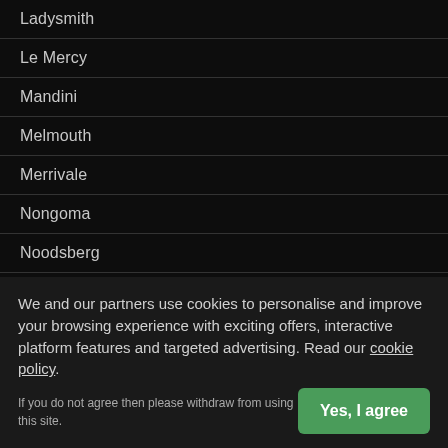Ladysmith
Le Mercy
Mandini
Melmouth
Merrivale
Nongoma
Noodsberg
Palm Beach
Pennington
Phoenix
Pietermaritzburg
Pomeroy
Port Edward
Queensburgh
Richards Bay
We and our partners use cookies to personalise and improve your browsing experience with exciting offers, interactive platform features and targeted advertising. Read our cookie policy.
If you do not agree then please withdraw from using this site.